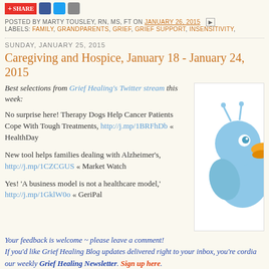SHARE (social icons)
POSTED BY MARTY TOUSLEY, RN, MS, FT ON JANUARY 26, 2015
LABELS: FAMILY, GRANDPARENTS, GRIEF, GRIEF SUPPORT, INSENSITIVITY,
SUNDAY, JANUARY 25, 2015
Caregiving and Hospice, January 18 - January 24, 2015
Best selections from Grief Healing's Twitter stream this week:
No surprise here! Therapy Dogs Help Cancer Patients Cope With Tough Treatments, http://j.mp/1BRFhDb « HealthDay
New tool helps families dealing with Alzheimer's, http://j.mp/1CZCGUS « Market Watch
Yes! 'A business model is not a healthcare model,' http://j.mp/1GklW0o « GeriPal
[Figure (illustration): Twitter bird mascot illustration - blue cartoon bird with yellow beak]
Your feedback is welcome ~ please leave a comment! If you'd like Grief Healing Blog updates delivered right to your inbox, you're cordia our weekly Grief Healing Newsletter. Sign up here.